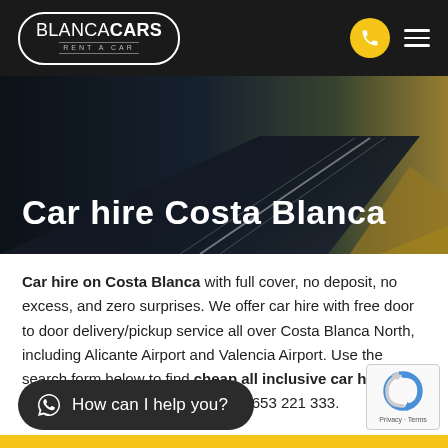[Figure (logo): BlancaCars Rent a Car logo — white rounded rectangle border with text BLANCA in regular weight and CARS in bold, subtitle RENT A CAR in small caps]
[Figure (photo): Hero background photo of a highway road at night/dusk with light trails, dark blue tones on left fading to gold/yellow tones on right]
Car hire Costa Blanca
Car hire on Costa Blanca with full cover, no deposit, no excess, and zero surprises. We offer car hire with free door to door delivery/pickup service all over Costa Blanca North, including Alicante Airport and Valencia Airport. Use the search form below to find cheap all inclusive car hire on Costa Blanca or call booking +34 653 221 333.
[Figure (other): WhatsApp chat button — dark rounded pill button with WhatsApp icon and text 'How can I help you?']
[Figure (other): Google reCAPTCHA badge in bottom right corner]